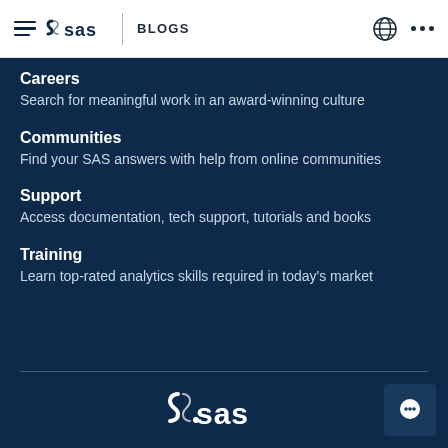SAS Blogs navigation header
Careers
Search for meaningful work in an award-winning culture
Communities
Find your SAS answers with help from online communities
Support
Access documentation, tech support, tutorials and books
Training
Learn top-rated analytics skills required in today's market
[Figure (logo): SAS logo in white at bottom center of dark navy footer area]